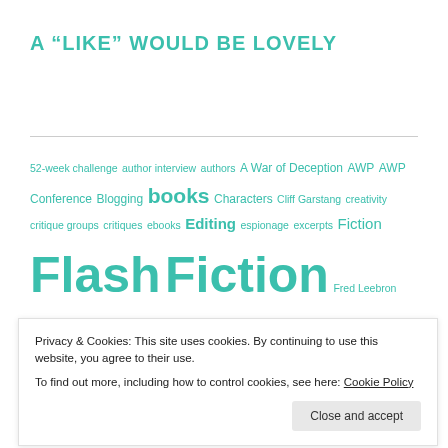A “LIKE” WOULD BE LOVELY
52-week challenge author interview authors A War of Deception AWP AWP Conference Blogging books Characters Cliff Garstang creativity critique groups critiques ebooks Editing espionage excerpts Fiction Flash Fiction Fred Leebron Friday Fictioneers Haiku haiku 366 haiku366 historical fiction history Hollins University indie Story Month novel in stories Novels Pinckney Benedict poetry politics
Privacy & Cookies: This site uses cookies. By continuing to use this website, you agree to their use.
To find out more, including how to control cookies, see here: Cookie Policy
Story Month novel in stories Novels Pinckney Benedict poetry politics